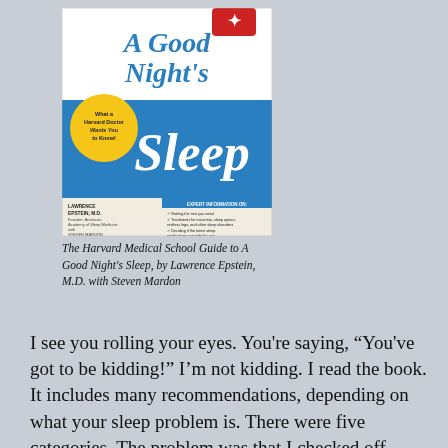[Figure (illustration): Book cover of 'The Harvard Medical School Guide to A Good Night's Sleep' by Lawrence Epstein, M.D. with Steven Mardon. Blue and white cover with large text showing 'A Good Night's Sleep', a yellow circular badge reading 'What a Harvard Doctor Wants You to Know!', and expert information bullet points.]
The Harvard Medical School Guide to A Good Night's Sleep, by Lawrence Epstein, M.D. with Steven Mardon
I see you rolling your eyes. You're saying, “You've got to be kidding!” I'm not kidding. I read the book. It includes many recommendations, depending on what your sleep problem is. There were five categories. The problem was that I checked off three.
The below are some of actions on which and I should...